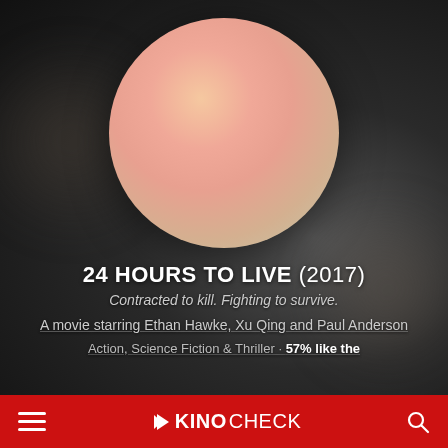[Figure (illustration): Dark blurred background with a large circular gradient element showing peach/salmon/orange tones, representing a movie poster placeholder for 24 Hours to Live]
24 HOURS TO LIVE (2017)
Contracted to kill. Fighting to survive.
A movie starring Ethan Hawke, Xu Qing and Paul Anderson
Action, Science Fiction & Thriller · 57% like the
☰  KINOCHECK  🔍